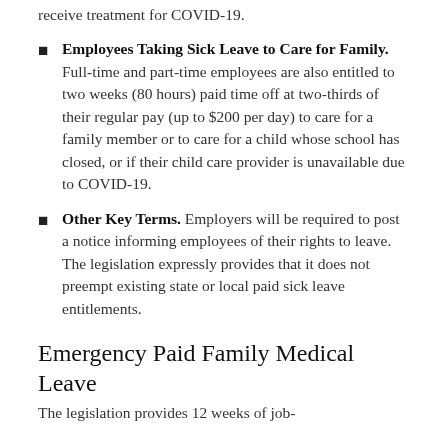receive treatment for COVID-19.
Employees Taking Sick Leave to Care for Family. Full-time and part-time employees are also entitled to two weeks (80 hours) paid time off at two-thirds of their regular pay (up to $200 per day) to care for a family member or to care for a child whose school has closed, or if their child care provider is unavailable due to COVID-19.
Other Key Terms. Employers will be required to post a notice informing employees of their rights to leave. The legislation expressly provides that it does not preempt existing state or local paid sick leave entitlements.
Emergency Paid Family Medical Leave
The legislation provides 12 weeks of job-